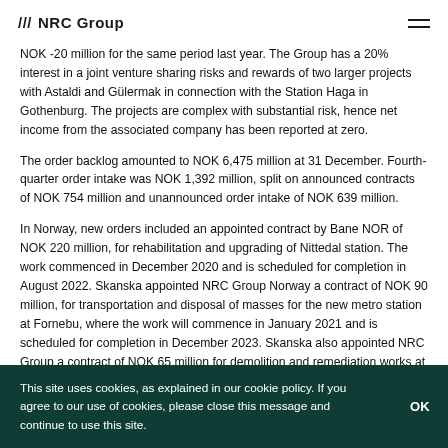/// NRC Group
NOK -20 million for the same period last year. The Group has a 20% interest in a joint venture sharing risks and rewards of two larger projects with Astaldi and Gülermak in connection with the Station Haga in Gothenburg. The projects are complex with substantial risk, hence net income from the associated company has been reported at zero.
The order backlog amounted to NOK 6,475 million at 31 December. Fourth-quarter order intake was NOK 1,392 million, split on announced contracts of NOK 754 million and unannounced order intake of NOK 639 million.
In Norway, new orders included an appointed contract by Bane NOR of NOK 220 million, for rehabilitation and upgrading of Nittedal station. The work commenced in December 2020 and is scheduled for completion in August 2022. Skanska appointed NRC Group Norway a contract of NOK 90 million, for transportation and disposal of masses for the new metro station at Fornebu, where the work will commence in January 2021 and is scheduled for completion in December 2023. Skanska also appointed NRC Group a contract of NOK 65 million for demolition and remediation works at Fornebu. The work commenced in November 2020 and is scheduled for
This site uses cookies, as explained in our cookie policy. If you agree to our use of cookies, please close this message and continue to use this site.